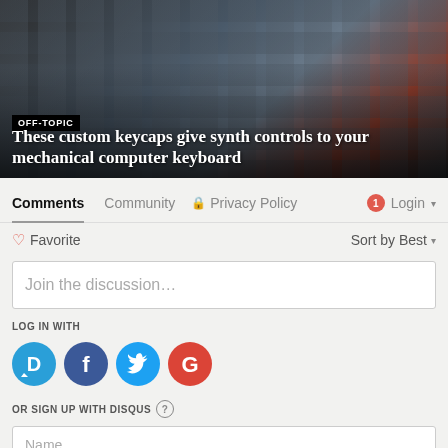[Figure (photo): Close-up photograph of custom keycaps on a mechanical keyboard with colorful designs, showing keyboard from above at an angle. Background includes blue and red tones.]
OFF-TOPIC
These custom keycaps give synth controls to your mechanical computer keyboard
Comments  Community  Privacy Policy  1  Login
Favorite  Sort by Best
Join the discussion…
LOG IN WITH
[Figure (logo): Social login icons: Disqus (D, blue), Facebook (f, dark blue), Twitter (bird, light blue), Google (G, red)]
OR SIGN UP WITH DISQUS ?
Name